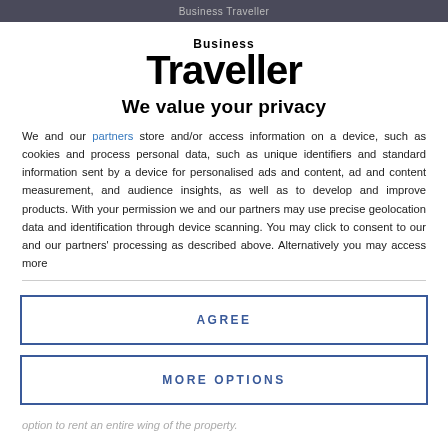Business Traveller
[Figure (logo): Business Traveller magazine logo with 'Business' in small bold text above 'Traveller' in large bold serif-style font]
We value your privacy
We and our partners store and/or access information on a device, such as cookies and process personal data, such as unique identifiers and standard information sent by a device for personalised ads and content, ad and content measurement, and audience insights, as well as to develop and improve products. With your permission we and our partners may use precise geolocation data and identification through device scanning. You may click to consent to our and our partners' processing as described above. Alternatively you may access more
AGREE
MORE OPTIONS
option to rent an entire wing of the property.